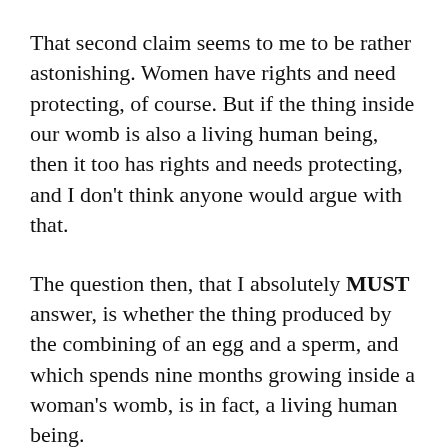That second claim seems to me to be rather astonishing. Women have rights and need protecting, of course. But if the thing inside our womb is also a living human being, then it too has rights and needs protecting, and I don't think anyone would argue with that.
The question then, that I absolutely MUST answer, is whether the thing produced by the combining of an egg and a sperm, and which spends nine months growing inside a woman's womb, is in fact, a living human being.
Some tell me it is just an embryo, or a foetus.